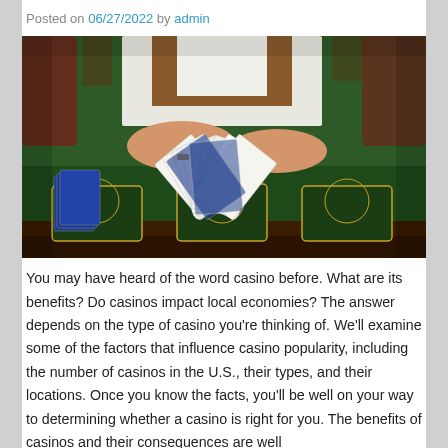Posted on 06/27/2022 by admin
[Figure (photo): A casino dealer's hands fanning out a deck of playing cards on a green felt casino table, with stacks of cards and casino chip areas visible. The dealer wears a white shirt and brown vest.]
You may have heard of the word casino before. What are its benefits? Do casinos impact local economies? The answer depends on the type of casino you're thinking of. We'll examine some of the factors that influence casino popularity, including the number of casinos in the U.S., their types, and their locations. Once you know the facts, you'll be well on your way to determining whether a casino is right for you. The benefits of casinos and their consequences are well...